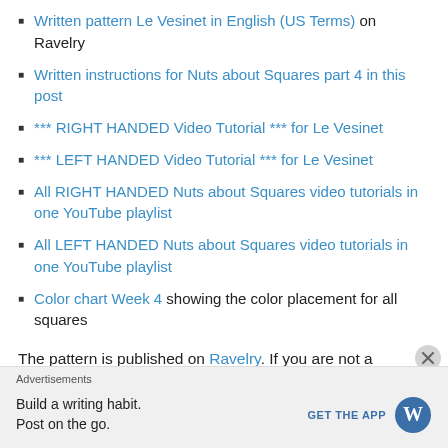Written pattern Le Vesinet in English (US Terms) on Ravelry
Written instructions for Nuts about Squares part 4 in this post
*** RIGHT HANDED Video Tutorial *** for Le Vesinet
*** LEFT HANDED Video Tutorial *** for Le Vesinet
All RIGHT HANDED Nuts about Squares video tutorials in one YouTube playlist
All LEFT HANDED Nuts about Squares video tutorials in one YouTube playlist
Color chart Week 4 showing the color placement for all squares
The pattern is published on Ravelry. If you are not a
Advertisements
Build a writing habit.
Post on the go.
GET THE APP